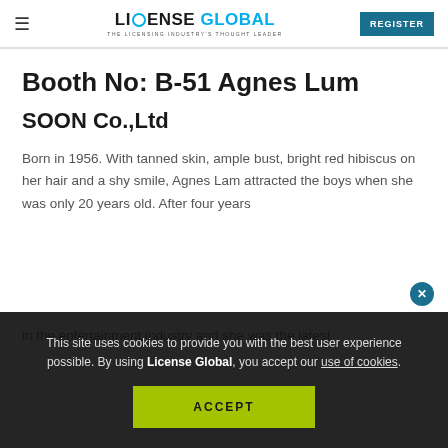LICENSE GLOBAL — THE LICENSING INDUSTRY'S THOUGHT LEADER | REGISTER
Booth No: B-51 Agnes Lum
SOON Co.,Ltd
Born in 1956. With tanned skin, ample bust, bright red hibiscus on her hair and a shy smile, Agnes Lam attracted the boys when she was only 20 years old. After four years in the entertainment industry...
This site uses cookies to provide you with the best user experience possible. By using License Global, you accept our use of cookies.